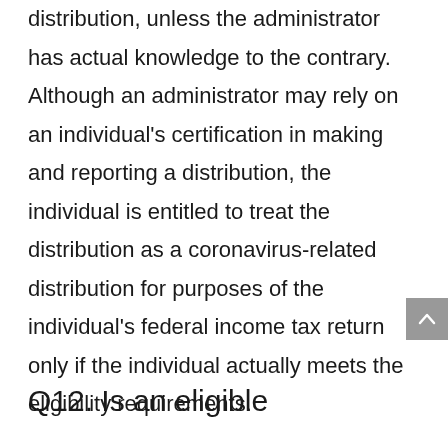distribution, unless the administrator has actual knowledge to the contrary. Although an administrator may rely on an individual's certification in making and reporting a distribution, the individual is entitled to treat the distribution as a coronavirus-related distribution for purposes of the individual's federal income tax return only if the individual actually meets the eligibility requirements.
Q12. Is an eligible